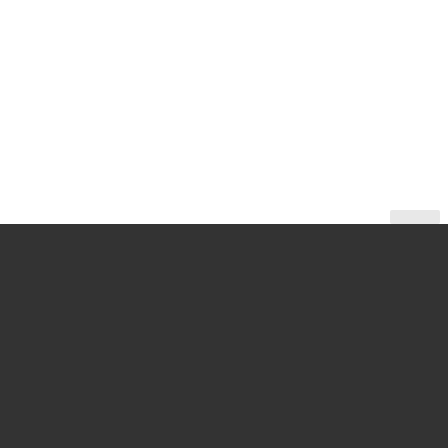[Figure (other): White upper half of the page, blank.]
Supplies & Equipment
Floor Mops